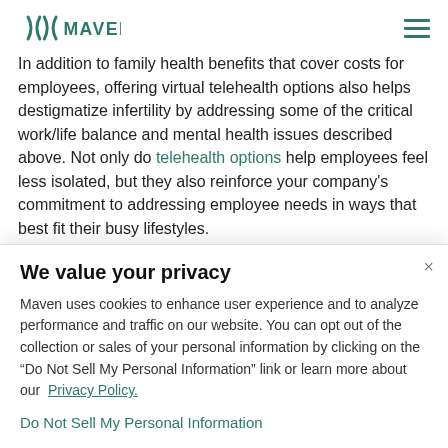Maven
In addition to family health benefits that cover costs for employees, offering virtual telehealth options also helps destigmatize infertility by addressing some of the critical work/life balance and mental health issues described above. Not only do telehealth options help employees feel less isolated, but they also reinforce your company's commitment to addressing employee needs in ways that best fit their busy lifestyles.
We value your privacy
Maven uses cookies to enhance user experience and to analyze performance and traffic on our website. You can opt out of the collection or sales of your personal information by clicking on the “Do Not Sell My Personal Information” link or learn more about our Privacy Policy.
Do Not Sell My Personal Information